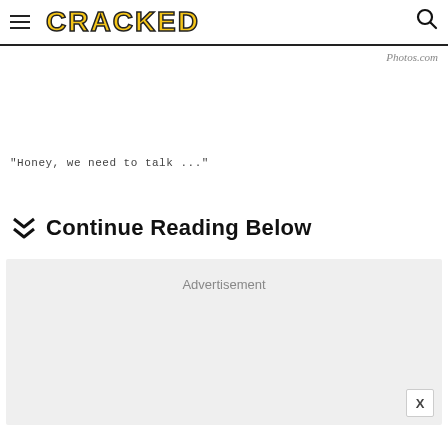CRACKED
Photos.com
"Honey, we need to talk ..."
Continue Reading Below
Advertisement